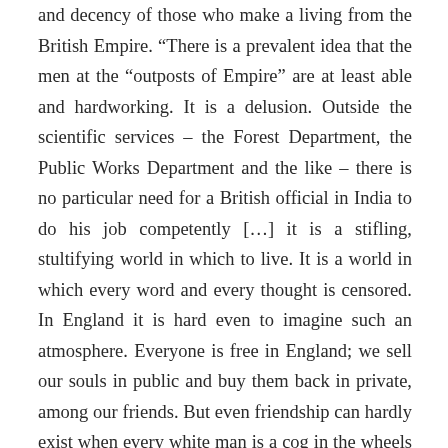and decency of those who make a living from the British Empire. “There is a prevalent idea that the men at the “outposts of Empire” are at least able and hardworking. It is a delusion. Outside the scientific services – the Forest Department, the Public Works Department and the like – there is no particular need for a British official in India to do his job competently […] it is a stifling, stultifying world in which to live. It is a world in which every word and every thought is censored. In England it is hard even to imagine such an atmosphere. Everyone is free in England; we sell our souls in public and buy them back in private, among our friends. But even friendship can hardly exist when every white man is a cog in the wheels of despotism. Free speech is unthinkable. All other kinds of freedom are permitted. You are free to be a drunkard, an idler, a coward, a backbiter, a fornicator; but you are not free to